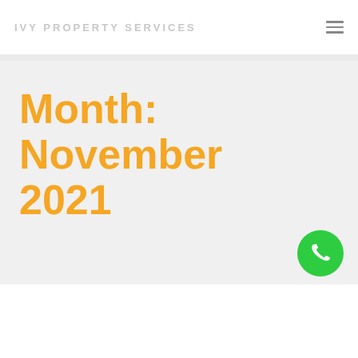IVY PROPERTY SERVICES
Month: November 2021
[Figure (other): Green circular phone/call button icon in bottom-right of hero section]